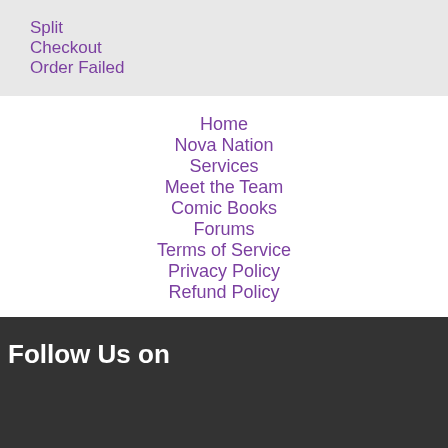Split
Checkout
Order Failed
Home
Nova Nation
Services
Meet the Team
Comic Books
Forums
Terms of Service
Privacy Policy
Refund Policy
Follow Us on